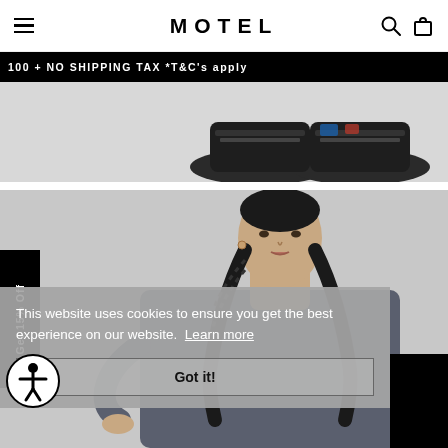MOTEL
100 + NO SHIPPING TAX *T&C's apply
[Figure (photo): Bottom portion of model wearing black sneakers against light grey background]
[Figure (photo): Model wearing a dark grey long-sleeve top with braided pigtails, posing against grey background]
Get 15% Off
This website uses cookies to ensure you get the best experience on our website. Learn more
Got it!